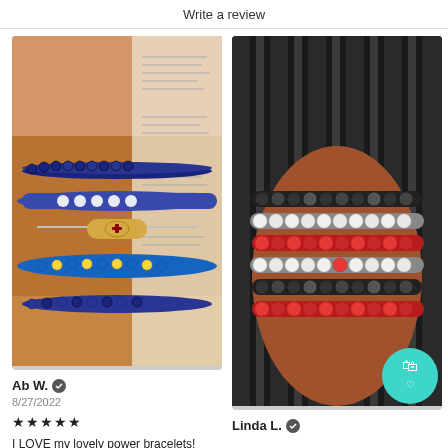Write a review
[Figure (photo): Close-up photo of a wrist wearing multiple blue beaded bracelets and a gold medical ID bracelet]
Ab W. ✓
8/27/2022
★★★★★
I LOVE my lovely power bracelets!
[Figure (photo): Close-up photo of a wrist wearing a wide woven beaded bracelet in red, white, and black colors, with a teal shopping bag button overlay]
Linda L. ✓